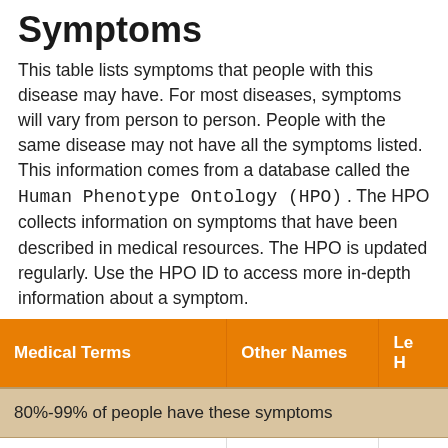Symptoms
This table lists symptoms that people with this disease may have. For most diseases, symptoms will vary from person to person. People with the same disease may not have all the symptoms listed. This information comes from a database called the Human Phenotype Ontology (HPO). The HPO collects information on symptoms that have been described in medical resources. The HPO is updated regularly. Use the HPO ID to access more in-depth information about a symptom.
| Medical Terms | Other Names | Le... H... |
| --- | --- | --- |
| 80%-99% of people have these symptoms |  |  |
| Ataxia |  | 0 |